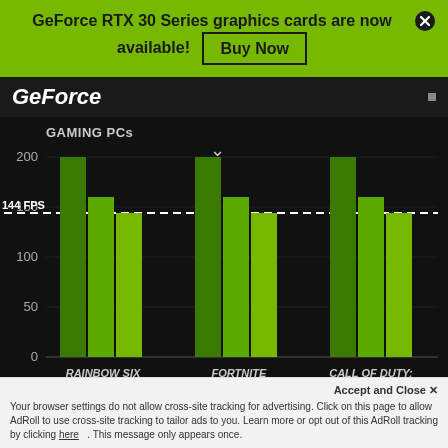GeForce RTX 30 Series graphics cards are now available! Buy Now
[Figure (bar-chart): GAMING PCs — 144 FPS]
Your browser settings do not allow cross-site tracking for advertising. Click on this page to allow AdRoll to use cross-site tracking to tailor ads to you. Learn more or opt out of this AdRoll tracking by clicking here. This message only appears once.